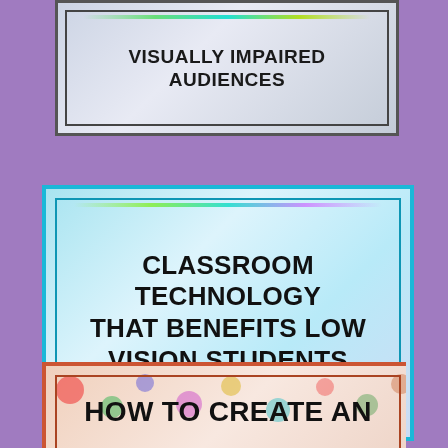[Figure (illustration): Holographic/iridescent bordered card with text about visual descriptions for visually impaired audiences, partially cropped at top]
VISUALLY IMPAIRED AUDIENCES
[Figure (illustration): Teal/cyan bordered holographic card with text: CLASSROOM TECHNOLOGY THAT BENEFITS LOW VISION STUDENTS]
CLASSROOM TECHNOLOGY THAT BENEFITS LOW VISION STUDENTS
[Figure (illustration): Coral/red bordered card with colorful bokeh background, partially cropped at bottom, text: HOW TO CREATE AN]
HOW TO CREATE AN